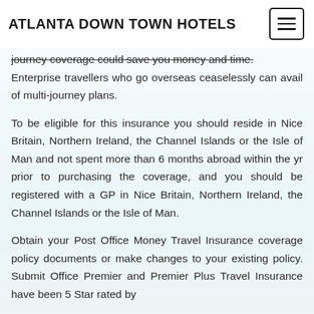ATLANTA DOWN TOWN HOTELS
journey coverage could save you money and time. Enterprise travellers who go overseas ceaselessly can avail of multi-journey plans.
To be eligible for this insurance you should reside in Nice Britain, Northern Ireland, the Channel Islands or the Isle of Man and not spent more than 6 months abroad within the yr prior to purchasing the coverage, and you should be registered with a GP in Nice Britain, Northern Ireland, the Channel Islands or the Isle of Man.
Obtain your Post Office Money Travel Insurance coverage policy documents or make changes to your existing policy. Submit Office Premier and Premier Plus Travel Insurance have been 5 Star rated by